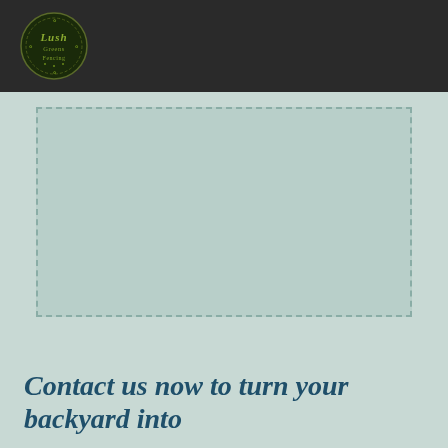Lush Greens Fencing
[Figure (photo): Image placeholder with dashed border on a light sage green background]
Contact us now to turn your backyard into